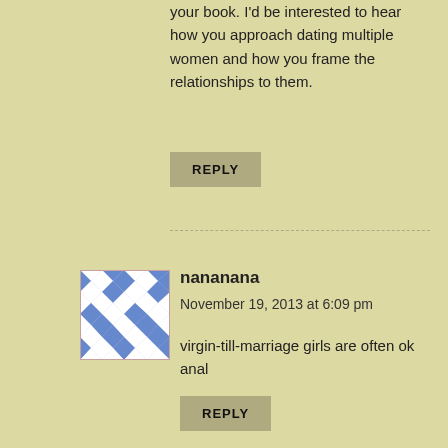your book. I'd be interested to hear how you approach dating multiple women and how you frame the relationships to them.
REPLY
nananana
November 19, 2013 at 6:09 pm
virgin-till-marriage girls are often ok anal
REPLY